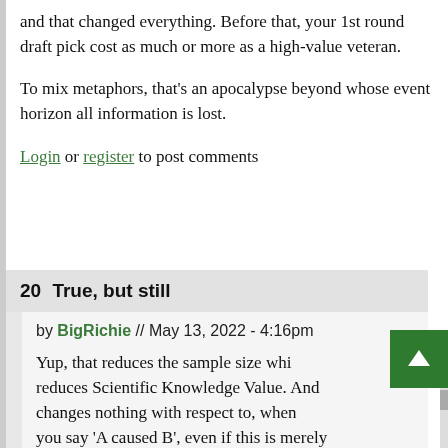and that changed everything. Before that, your 1st round draft pick cost as much or more as a high-value veteran.
To mix metaphors, that's an apocalypse beyond whose event horizon all information is lost.
Login or register to post comments
20  True, but still
by BigRichie // May 13, 2022 - 4:16pm
Yup, that reduces the sample size whi... reduces Scientific Knowledge Value. And changes nothing with respect to, when you say 'A caused B', even if this is merely... Year 2 you still go check Year 1 on that...